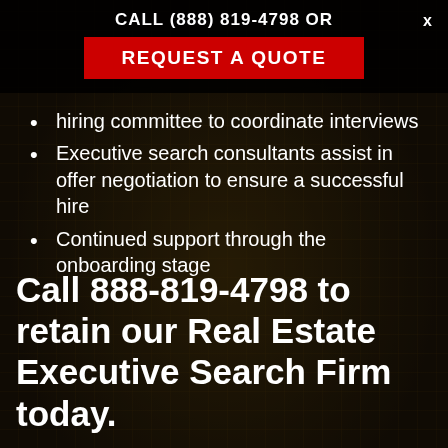CALL (888) 819-4798 OR
REQUEST A QUOTE
hiring committee to coordinate interviews
Executive search consultants assist in offer negotiation to ensure a successful hire
Continued support through the onboarding stage
Call 888-819-4798 to retain our Real Estate Executive Search Firm today.